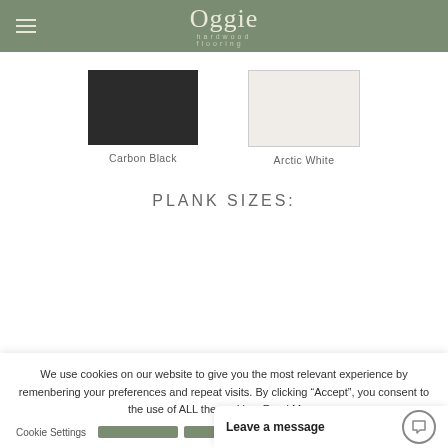Oggie hardwood flooring
Carbon Black
Arctic White
PLANK SIZES:
We use cookies on our website to give you the most relevant experience by remenbering your preferences and repeat visits. By clicking “Accept”, you consent to the use of ALL the cookies. Read More.
Cookie Settings
Leave a message